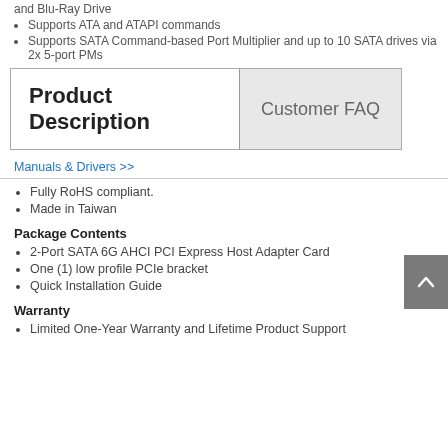and Blu-Ray Drive
Supports ATA and ATAPI commands
Supports SATA Command-based Port Multiplier and up to 10 SATA drives via 2x 5-port PMs
Product Description
Customer FAQ
Manuals & Drivers >>
Fully RoHS compliant.
Made in Taiwan
Package Contents
2-Port SATA 6G AHCI PCI Express Host Adapter Card
One (1) low profile PCIe bracket
Quick Installation Guide
Warranty
Limited One-Year Warranty and Lifetime Product Support